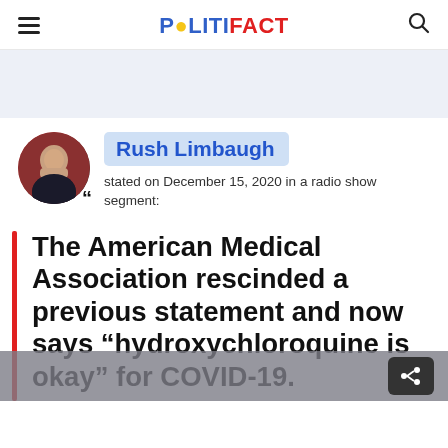POLITIFACT
[Figure (photo): Ad banner placeholder, light blue-gray background]
[Figure (photo): Circular avatar photo of Rush Limbaugh, with a quote icon below]
Rush Limbaugh
stated on December 15, 2020 in a radio show segment:
The American Medical Association rescinded a previous statement and now says "hydroxychloroquine is okay" for COVID-19.